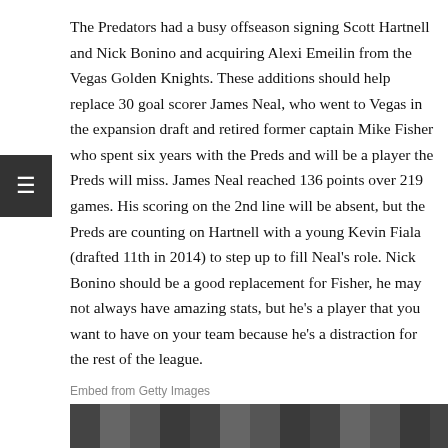The Predators had a busy offseason signing Scott Hartnell and Nick Bonino and acquiring Alexi Emeilin from the Vegas Golden Knights. These additions should help replace 30 goal scorer James Neal, who went to Vegas in the expansion draft and retired former captain Mike Fisher who spent six years with the Preds and will be a player the Preds will miss. James Neal reached 136 points over 219 games. His scoring on the 2nd line will be absent, but the Preds are counting on Hartnell with a young Kevin Fiala (drafted 11th in 2014) to step up to fill Neal's role. Nick Bonino should be a good replacement for Fisher, he may not always have amazing stats, but he's a player that you want to have on your team because he's a distraction for the rest of the league.
Embed from Getty Images
[Figure (photo): Bottom strip showing a crowd of people, partially visible]